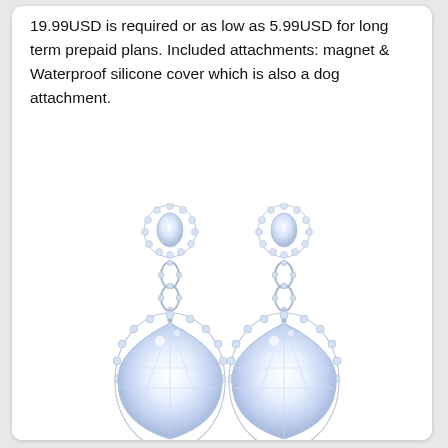19.99USD is required or as low as 5.99USD for long term prepaid plans. Included attachments: magnet & Waterproof silicone cover which is also a dog attachment.
[Figure (photo): Two elegant crystal teardrop drop earrings with a halo of small round diamonds/crystals around the large pear-shaped center stones, suspended from smaller round-topped halo studs connected by a figure-eight crystal link, all in silver tone.]